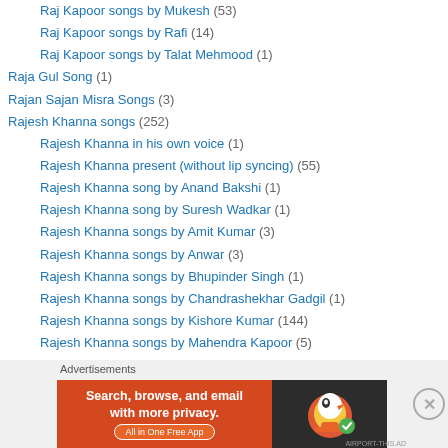Raj Kapoor songs by Mukesh (53)
Raj Kapoor songs by Rafi (14)
Raj Kapoor songs by Talat Mehmood (1)
Raja Gul Song (1)
Rajan Sajan Misra Songs (3)
Rajesh Khanna songs (252)
Rajesh Khanna in his own voice (1)
Rajesh Khanna present (without lip syncing) (55)
Rajesh Khanna song by Anand Bakshi (1)
Rajesh Khanna song by Suresh Wadkar (1)
Rajesh Khanna songs by Amit Kumar (3)
Rajesh Khanna songs by Anwar (3)
Rajesh Khanna songs by Bhupinder Singh (1)
Rajesh Khanna songs by Chandrashekhar Gadgil (1)
Rajesh Khanna songs by Kishore Kumar (144)
Rajesh Khanna songs by Mahendra Kapoor (5)
Advertisements
[Figure (infographic): DuckDuckGo advertisement banner: orange left side with text 'Search, browse, and email with more privacy. All in One Free App', dark right side with DuckDuckGo duck logo]